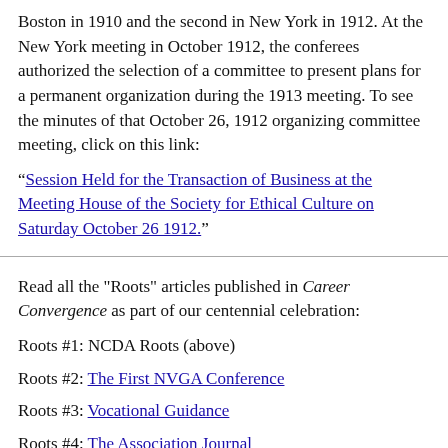Boston in 1910 and the second in New York in 1912. At the New York meeting in October 1912, the conferees authorized the selection of a committee to present plans for a permanent organization during the 1913 meeting. To see the minutes of that October 26, 1912 organizing committee meeting, click on this link:
“Session Held for the Transaction of Business at the Meeting House of the Society for Ethical Culture on Saturday October 26 1912.”
Read all the "Roots" articles published in Career Convergence as part of our centennial celebration:
Roots #1: NCDA Roots (above)
Roots #2: The First NVGA Conference
Roots #3: Vocational Guidance
Roots #4: The Association Journal
Roots #5: Early History